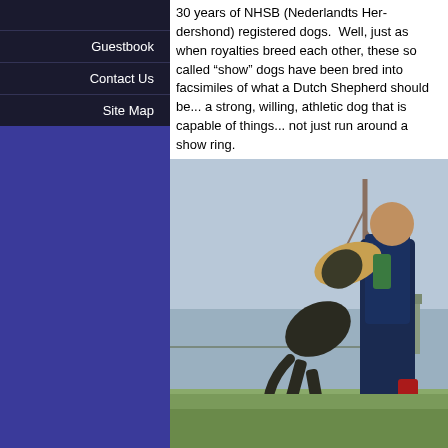Guestbook
Contact Us
Site Map
30 years of NHSB (Nederlands Herdershond) registered dogs. Well, just as when royalties breed each other, these so called "show" dogs have been bred into facsimiles of what a Dutch Shepherd should be... a strong, willing, athletic dog that is capable of things... not just run around a show ring.
[Figure (photo): A dark brindle Dutch Shepherd dog jumping up and biting a large padded sleeve worn by a man in a navy jacket and black pants, outdoors on a grassy field with trees and a small building in the background.]